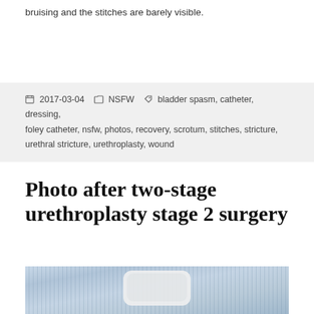bruising and the stitches are barely visible.
2017-03-04  NSFW  bladder spasm, catheter, dressing, foley catheter, nsfw, photos, recovery, scrotum, stitches, stricture, urethral stricture, urethroplasty, wound
Photo after two-stage urethroplasty stage 2 surgery
[Figure (photo): Medical photo showing post-surgical area with striped fabric/hospital gown and white bandage/dressing]